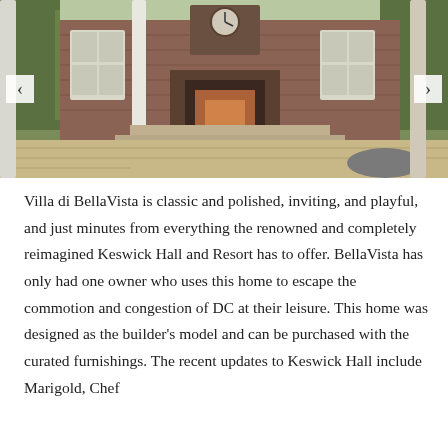[Figure (photo): Exterior photo of Villa di BellaVista showing a brick building with white-framed windows, an outdoor fireplace, stone steps and patio, a circular outdoor table, and lush trees in the background. Navigation arrows on left and right sides of the image.]
Villa di BellaVista is classic and polished, inviting, and playful, and just minutes from everything the renowned and completely reimagined Keswick Hall and Resort has to offer. BellaVista has only had one owner who uses this home to escape the commotion and congestion of DC at their leisure. This home was designed as the builder's model and can be purchased with the curated furnishings. The recent updates to Keswick Hall include Marigold, Chef